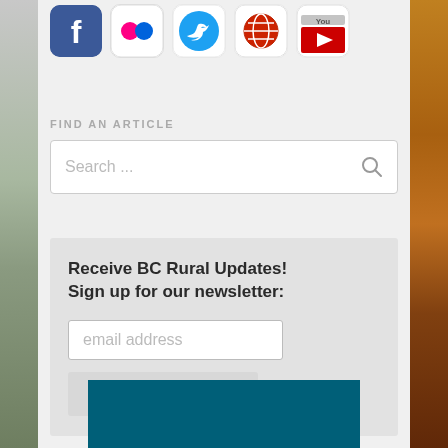[Figure (screenshot): Social media icons row: Facebook, Flickr, Twitter, Globe/website, YouTube]
FIND AN ARTICLE
[Figure (screenshot): Search input box with placeholder text 'Search ...' and a search icon]
Receive BC Rural Updates! Sign up for our newsletter:
[Figure (screenshot): Newsletter signup form with email address input field and Subscribe button]
[Figure (other): Teal/dark blue rectangle at bottom of page, partially visible]